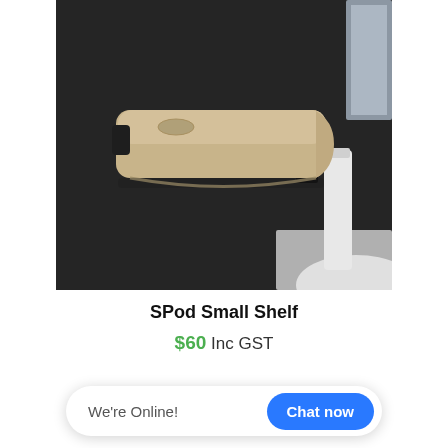[Figure (photo): Product photo of SPod Small Shelf — a modern wall-mounted wooden shelf with rounded edges and a small oval cutout, displayed against a dark background with a bathroom sink visible below.]
SPod Small Shelf
$60 Inc GST
We're Online! Chat now